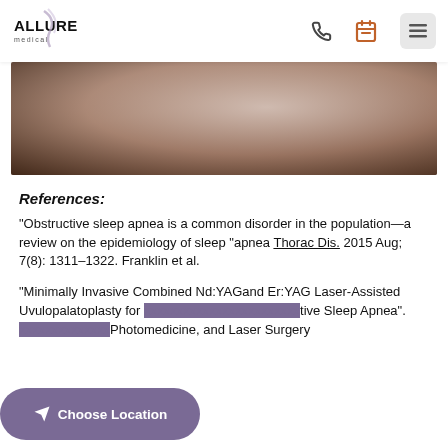ALLURE medical
[Figure (photo): Close-up photo of a person's neck/throat area, muted pinkish-beige tones]
References:
“Obstructive sleep apnea is a common disorder in the population—a review on the epidemiology of sleep “apnea Thorac Dis. 2015 Aug; 7(8): 1311–1322. Franklin et al.
“Minimally Invasive Combined Nd:YAGand Er:YAG Laser-Assisted Uvulopalatoplasty for …tive Sleep Apnea”. Photomedicine, and Laser Surgery